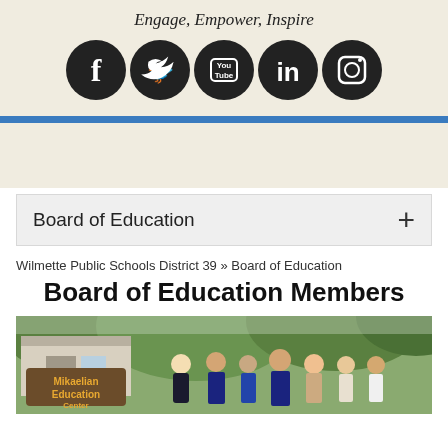Engage, Empower, Inspire
[Figure (illustration): Social media icons: Facebook, Twitter, YouTube, LinkedIn, Instagram — black circles with white logos]
Board of Education +
Wilmette Public Schools District 39 » Board of Education
Board of Education Members
[Figure (photo): Group photo of Board of Education members standing outdoors in front of Mikaelian Education Center sign, with trees in background]